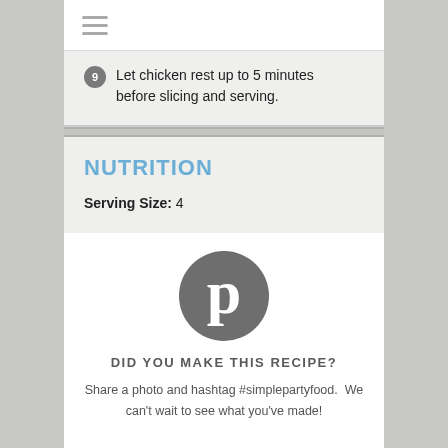≡
9 Let chicken rest up to 5 minutes before slicing and serving.
NUTRITION
Serving Size: 4
[Figure (logo): Pinterest circular logo in gray]
DID YOU MAKE THIS RECIPE?
Share a photo and hashtag #simplepartyfood.  We can't wait to see what you've made!